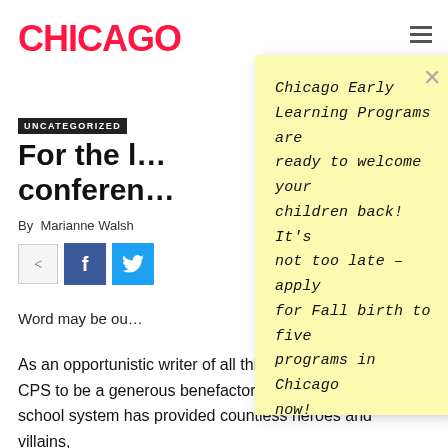CHICAGO
UNCATEGORIZED
For the l… conferen…
By  Marianne Walsh
Word may be ou…
[Figure (other): Sticky note overlay with handwritten text: Chicago Early Learning Programs are ready to welcome your children back! It's not too late – apply for Fall birth to five programs in Chicago now!]
As an opportunistic writer of all things silly, I have found CPS to be a generous benefactor through the years. The school system has provided countless heroes and villains,